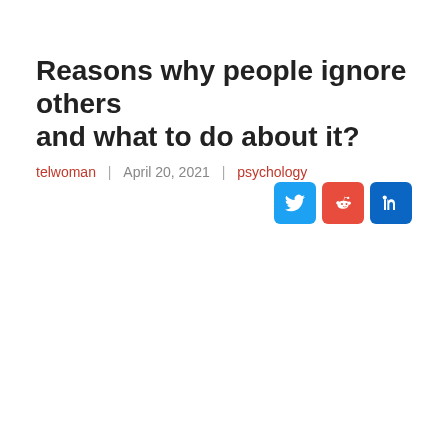Reasons why people ignore others and what to do about it?
telwoman  |  April 20, 2021  |  psychology
[Figure (other): Social sharing icons: Twitter (blue), Reddit (red/orange), LinkedIn (blue)]